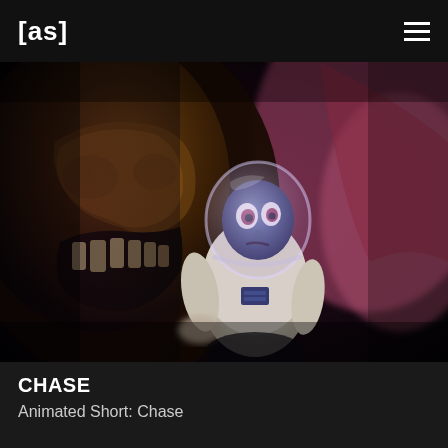[as]
[Figure (screenshot): Still from animated short 'Chase' showing a blue-skinned astronaut character with a clear helmet looking frightened, surrounded by a large monstrous dark creature with teeth on the left and a pink alien environment on the right. Dark atmospheric lighting.]
CHASE
Animated Short: Chase